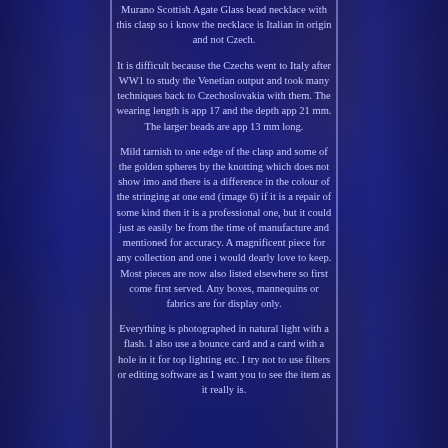Murano Scottish Agate Glass bead necklace with this clasp so i know the necklace is Italian in origin and not Czech.
It is difficult because the Czechs went to Italy after WW1 to study the Venetian output and took many techniques back to Czechoslovakia with them. The wearing length is app 17 and the depth app 21 mm. The larger beads are app 13 mm long.
Mild tarnish to one edge of the clasp and some of the golden spheres by the knotting which does not show imo and there is a difference in the colour of the stringing at one end (image 6) if it is a repair of some kind then it is a professional one, but it could just as easily be from the time of manufacture and mentioned for accuracy. A magnificent piece for any collection and one i would dearly love to keep. Most pieces are now also listed elsewhere so first come first served. Any boxes, mannequins or fabrics are for display only.
Everything is photographed in natural light with a flash. I also use a bounce card and a card with a hole in it for top lighting etc. I try not to use filters or editing software as I want you to see the item as it really is.